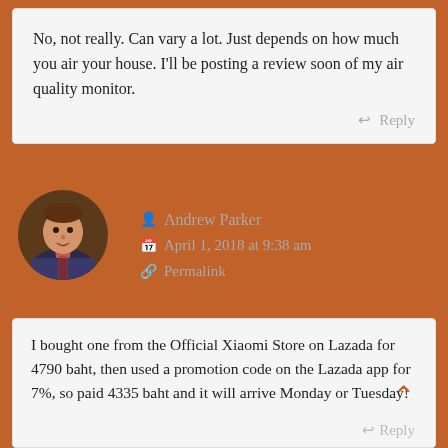No, not really. Can vary a lot. Just depends on how much you air your house. I'll be posting a review soon of my air quality monitor.
Reply
[Figure (photo): Circular avatar photo of a man wearing a patterned jacket with traditional necklace, standing in what appears to be an indoor setting.]
Andrew Parker
April 1, 2018 at 9:38 am
Permalink
I bought one from the Official Xiaomi Store on Lazada for 4790 baht, then used a promotion code on the Lazada app for 7%, so paid 4335 baht and it will arrive Monday or Tuesday!
Reply